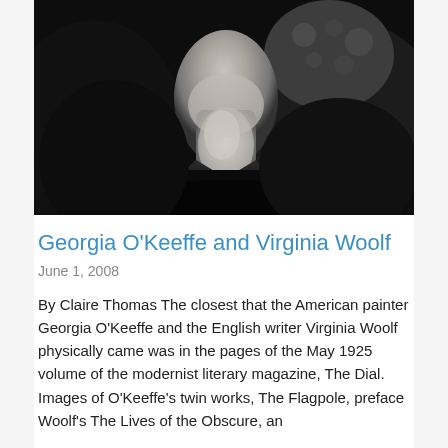[Figure (photo): Black and white close-up photograph of Georgia O'Keeffe, showing her face and neck tilted back, wearing a dark garment, with abstract shapes in the background.]
Georgia O'Keeffe and Virginia Woolf
June 1, 2008
By Claire Thomas The closest that the American painter Georgia O'Keeffe and the English writer Virginia Woolf physically came was in the pages of the May 1925 volume of the modernist literary magazine, The Dial. Images of O'Keeffe's twin works, The Flagpole, preface Woolf's The Lives of the Obscure, an